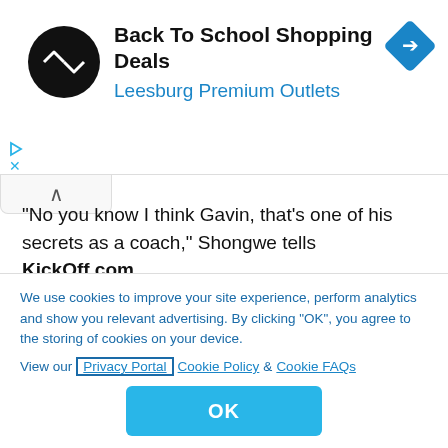[Figure (screenshot): Advertisement banner for 'Back To School Shopping Deals' from Leesburg Premium Outlets with logo and navigation icon]
"No you know I think Gavin, that's one of his secrets as a coach," Shongwe tells KickOff.com.
"When he signs a player regardless what position that player is playing, except a goalkeeper, he wants a player that is able to defend, create and score. This means he is only signing defenders that are able to
We use cookies to improve your site experience, perform analytics and show you relevant advertising. By clicking "OK", you agree to the storing of cookies on your device. View our Privacy Portal Cookie Policy & Cookie FAQs
OK